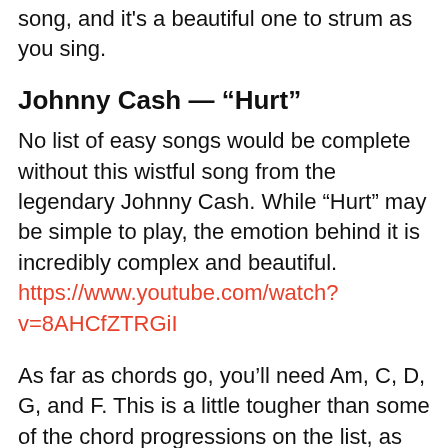song, and it's a beautiful one to strum as you sing.
Johnny Cash — “Hurt”
No list of easy songs would be complete without this wistful song from the legendary Johnny Cash. While “Hurt” may be simple to play, the emotion behind it is incredibly complex and beautiful. https://www.youtube.com/watch?v=8AHCfZTRGiI
As far as chords go, you’ll need Am, C, D, G, and F. This is a little tougher than some of the chord progressions on the list, as playing the F chord presents a challenge.